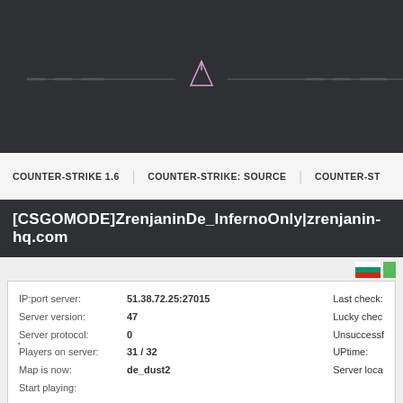[Figure (screenshot): Counter-Strike game website header banner with dark background and navigation menu showing COUNTER-STRIKE 1.6, COUNTER-STRIKE: SOURCE, COUNTER-ST...]
COUNTER-STRIKE 1.6  COUNTER-STRIKE: SOURCE  COUNTER-ST...
[CSGOMODE]ZrenjaninDe_InfernoOnly|zrenjanin-hq.com
| IP:port server: | 51.38.72.25:27015 |
| --- | --- |
| Server version: | 47 |
| Server protocol: | 0 |
| Players on server: | 31 / 32 |
| Map is now: | de_dust2 |
| Start playing: |  |
| # | Name of player |
| --- | --- |
| 1 | BraduTz |
| 2 | wiii |